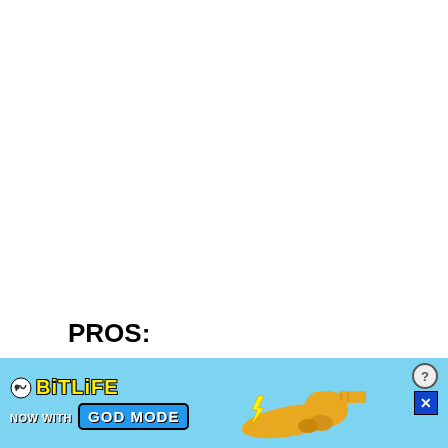PROS:
Can apply straight to the concrete
[Figure (illustration): BitLife advertisement banner with yellow logo text, 'NOW WITH GOD MODE' button on blue background with animated hand/finger illustration and close button]